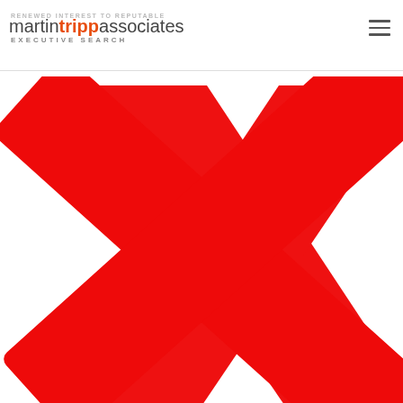RENEWED INTEREST TO REPUTABLE
[Figure (logo): Martin Tripp Associates Executive Search logo with 'martin' in grey, 'tripp' in orange/red, 'associates' in grey, and 'EXECUTIVE SEARCH' subtitle below in grey]
[Figure (illustration): Large red X (cross mark) symbol on white background, indicating rejection or error]